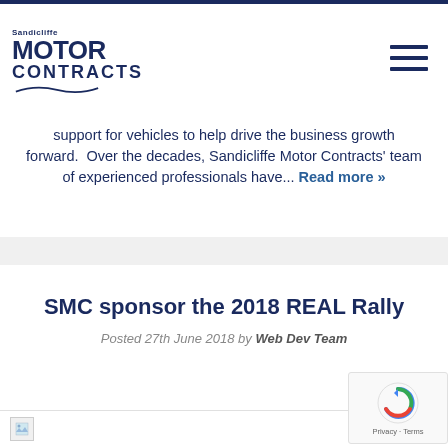Sandicliffe Motor Contracts
support for vehicles to help drive the business growth forward.  Over the decades, Sandicliffe Motor Contracts' team of experienced professionals have... Read more »
SMC sponsor the 2018 REAL Rally
Posted 27th June 2018 by Web Dev Team
[Figure (photo): Image thumbnail at bottom of page]